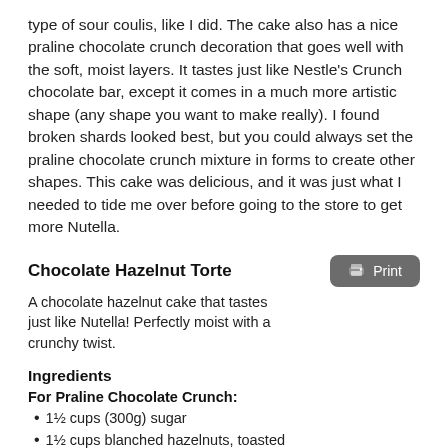type of sour coulis, like I did. The cake also has a nice praline chocolate crunch decoration that goes well with the soft, moist layers. It tastes just like Nestle's Crunch chocolate bar, except it comes in a much more artistic shape (any shape you want to make really). I found broken shards looked best, but you could always set the praline chocolate crunch mixture in forms to create other shapes. This cake was delicious, and it was just what I needed to tide me over before going to the store to get more Nutella.
Chocolate Hazelnut Torte
A chocolate hazelnut cake that tastes just like Nutella! Perfectly moist with a crunchy twist.
Ingredients
For Praline Chocolate Crunch:
1½ cups (300g) sugar
1½ cups blanched hazelnuts, toasted
1 teaspoon hazelnut or vegetable oil